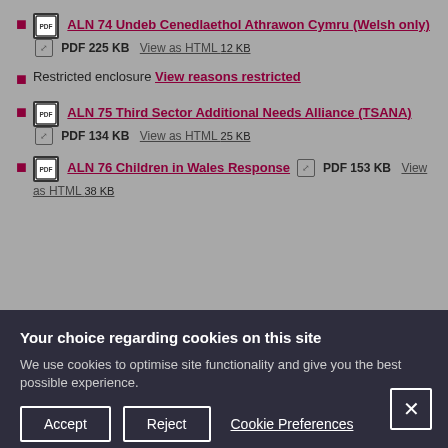ALN 74 Undeb Cenedlaethol Athrawon Cymru (Welsh only) PDF 225 KB View as HTML 12 KB
Restricted enclosure View reasons restricted
ALN 75 Third Sector Additional Needs Alliance (TSANA) PDF 134 KB View as HTML 25 KB
ALN 76 Children in Wales Response PDF 153 KB View as HTML 38 KB
Your choice regarding cookies on this site
We use cookies to optimise site functionality and give you the best possible experience.
Accept  Reject  Cookie Preferences  ×